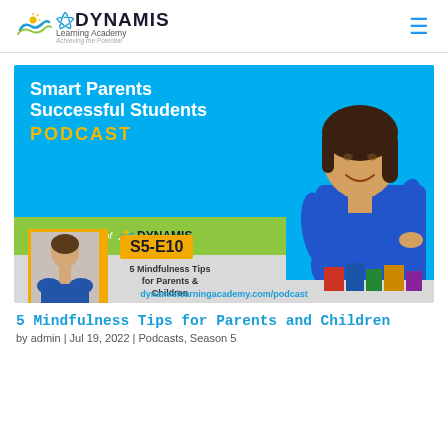Dynamis Learning Academy
[Figure (illustration): Smart Parents Successful Students Podcast banner image with Helen Panos of Dynamis Learning Academy, episode S5-E10: 5 Mindfulness Tips for Parents & Children]
5 Mindfulness Tips for Parents and Children
by admin | Jul 19, 2022 | Podcasts, Season 5